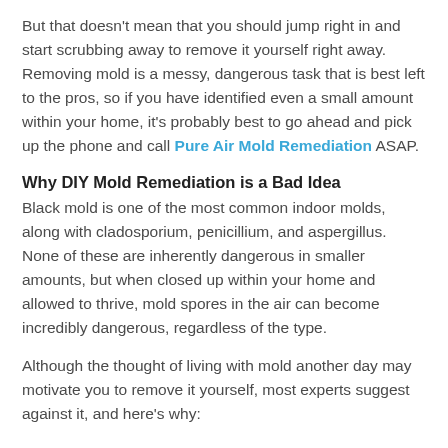But that doesn't mean that you should jump right in and start scrubbing away to remove it yourself right away. Removing mold is a messy, dangerous task that is best left to the pros, so if you have identified even a small amount within your home, it's probably best to go ahead and pick up the phone and call Pure Air Mold Remediation ASAP.
Why DIY Mold Remediation is a Bad Idea
Black mold is one of the most common indoor molds, along with cladosporium, penicillium, and aspergillus. None of these are inherently dangerous in smaller amounts, but when closed up within your home and allowed to thrive, mold spores in the air can become incredibly dangerous, regardless of the type.
Although the thought of living with mold another day may motivate you to remove it yourself, most experts suggest against it, and here's why: